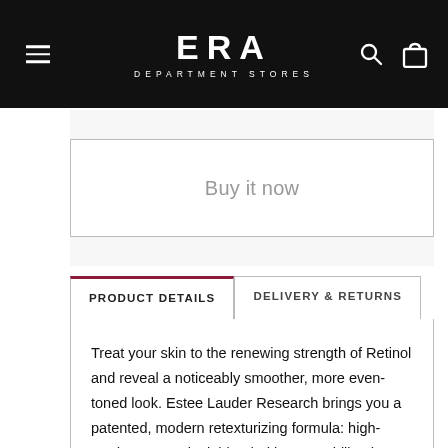ERA DEPARTMENT STORES
Buy it now
PRODUCT DETAILS
DELIVERY & RETURNS
Treat your skin to the renewing strength of Retinol and reveal a noticeably smoother, more even-toned look. Estee Lauder Research brings you a patented, modern retexturizing formula: high-grade pure Retinol, blended into a stabilized delivery system to time-release its power over an extended period. This creates an optimum balance of potency and